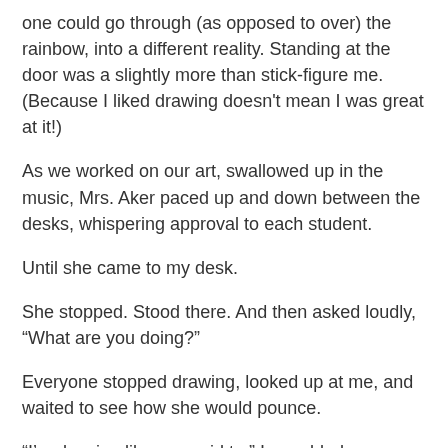one could go through (as opposed to over) the rainbow, into a different reality. Standing at the door was a slightly more than stick-figure me. (Because I liked drawing doesn't mean I was great at it!)
As we worked on our art, swallowed up in the music, Mrs. Aker paced up and down between the desks, whispering approval to each student.
Until she came to my desk.
She stopped. Stood there. And then asked loudly, “What are you doing?”
Everyone stopped drawing, looked up at me, and waited to see how she would pounce.
“I’m drawing like you said to,” I mumbled, surfacing from my reverie and feeling more than a little baffled by her question.
She pointed disdainfully at my drawing and proclaimed, “That’s not what you’re supposed to be drawing! You’re